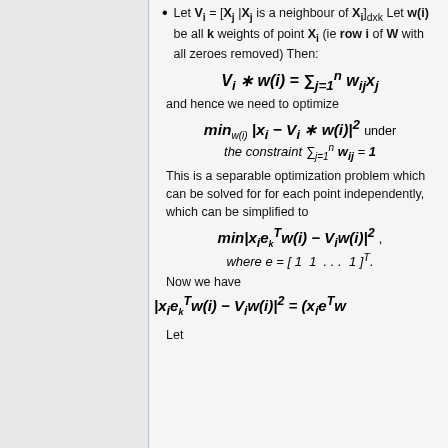Let V_i = [x_j | x_j is a neighbour of x_i]_{dxk} Let w(i) be all k weights of point x_i (ie row i of W with all zeroes removed) Then:
and hence we need to optimize
This is a separable optimization problem which can be solved for for each point independently, which can be simplified to
Now we have
Let